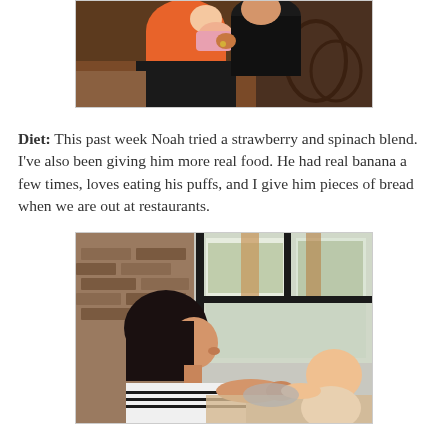[Figure (photo): Two people, one in an orange shirt holding a baby, photographed indoors from above]
Diet:  This past week Noah tried a strawberry and spinach blend.  I've also been giving him more real food.  He had real banana a few times, loves eating his puffs, and I give him pieces of bread when we are out at restaurants.
[Figure (photo): A woman with dark hair feeding or giving food to a baby at a restaurant table, with a brick wall and window in the background]